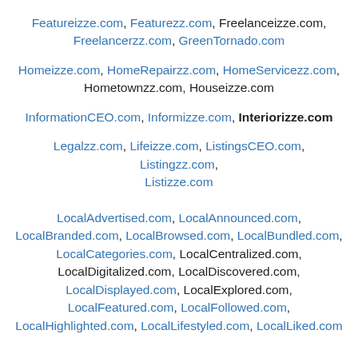Featureizze.com, Featurezz.com, Freelanceizze.com, Freelancerzz.com, GreenTornado.com
Homeizze.com, HomeRepairzz.com, HomeServicezz.com, Hometownzz.com, Houseizze.com
InformationCEO.com, Informizze.com, Interiorizze.com
Legalzz.com, Lifeizze.com, ListingsCEO.com, Listingzz.com, Listizze.com
LocalAdvertised.com, LocalAnnounced.com, LocalBranded.com, LocalBrowsed.com, LocalBundled.com, LocalCategories.com, LocalCentralized.com, LocalDigitalized.com, LocalDiscovered.com, LocalDisplayed.com, LocalExplored.com, LocalFeatured.com, LocalFollowed.com, LocalHighlighted.com, LocalLifestyled.com, LocalLiked.com